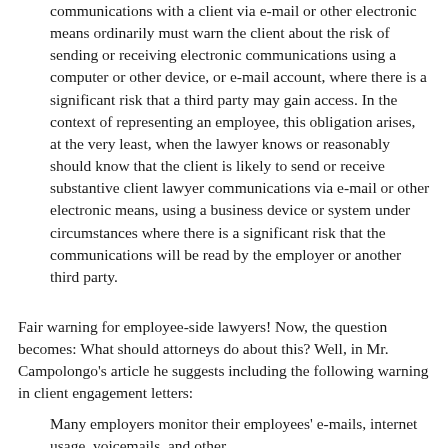communications with a client via e-mail or other electronic means ordinarily must warn the client about the risk of sending or receiving electronic communications using a computer or other device, or e-mail account, where there is a significant risk that a third party may gain access. In the context of representing an employee, this obligation arises, at the very least, when the lawyer knows or reasonably should know that the client is likely to send or receive substantive client lawyer communications via e-mail or other electronic means, using a business device or system under circumstances where there is a significant risk that the communications will be read by the employer or another third party.
Fair warning for employee-side lawyers! Now, the question becomes: What should attorneys do about this? Well, in Mr. Campolongo's article he suggests including the following warning in client engagement letters:
Many employers monitor their employees' e-mails, internet usage, voicemails, and other